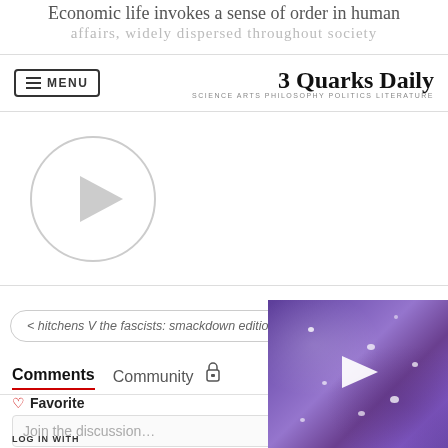Economic life invokes a sense of order in human affairs, widely dispersed throughout society
[Figure (screenshot): Website navigation bar for '3 Quarks Daily' with hamburger MENU button on left and logo on right with tagline 'SCIENCE ARTS PHILOSOPHY POLITICS LITERATURE']
[Figure (other): Video player placeholder with circular play button outline]
< hitchens V the fascists: smackdown edition
Ventriloquism >
Comments   Community   [lock icon]   [1 notification]   Login ▾   [X]
♡ Favorite
Join the discussion…
LOG IN WITH
[Figure (photo): Purple/violet textured close-up photo with video play button overlay in bottom-right corner]